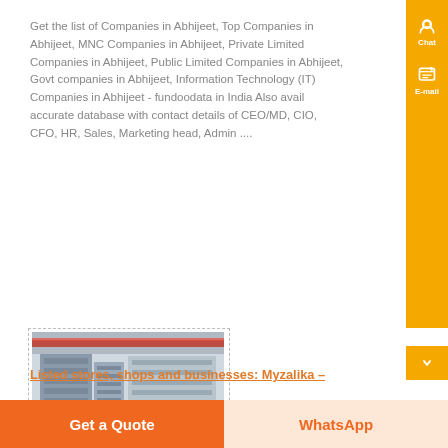Get the list of Companies in Abhijeet, Top Companies in Abhijeet, MNC Companies in Abhijeet, Private Limited Companies in Abhijeet, Public Limited Companies in Abhijeet, Govt companies in Abhijeet, Information Technology (IT) Companies in Abhijeet - fundoodata in India Also avail accurate database with contact details of CEO/MD, CIO, CFO, HR, Sales, Marketing head, Admin ....
[Figure (photo): Industrial manufacturing facility showing large metal structures or conveyor/storage systems inside a warehouse with red crane beams visible above.]
Listed stores, shops and businesses: Myzalika –